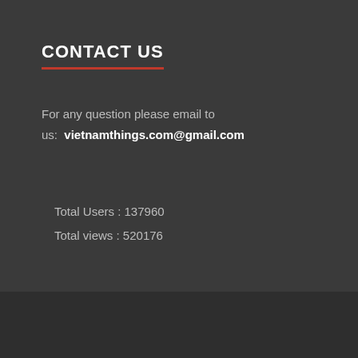CONTACT US
For any question please email to us: vietnamthings.com@gmail.com
Total Users : 137960
Total views : 520176
Copyright © 2022 Vietnam Things.
Powered by WordPress and HitMag.